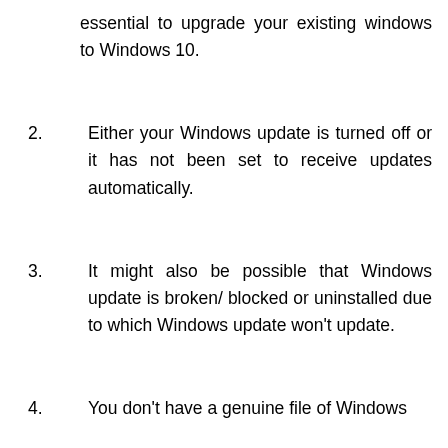essential to upgrade your existing windows to Windows 10.
2. Either your Windows update is turned off or it has not been set to receive updates automatically.
3. It might also be possible that Windows update is broken/ blocked or uninstalled due to which Windows update won't update.
4. You don't have a genuine file of Windows